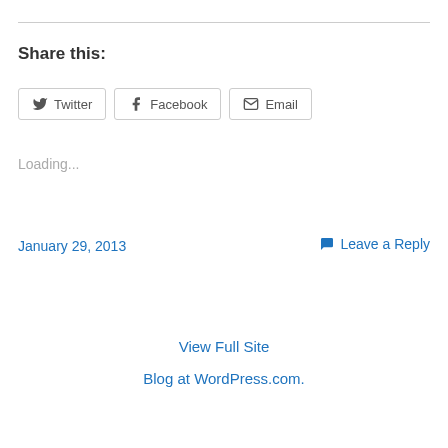Share this:
Twitter | Facebook | Email (share buttons)
Loading...
January 29, 2013
Leave a Reply
View Full Site
Blog at WordPress.com.